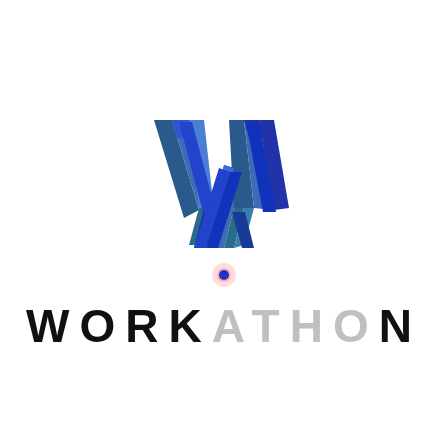[Figure (logo): Workathon logo: a 3D blue W lettermark above a small glowing dot, with the wordmark WORKATHON below in black and gray alternating letters]